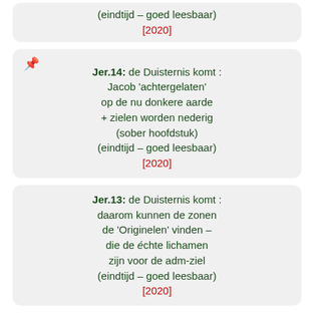(eindtijd – goed leesbaar)
[2020]
Jer.14: de Duisternis komt : Jacob 'achtergelaten' op de nu donkere aarde + zielen worden nederig (sober hoofdstuk) (eindtijd – goed leesbaar) [2020]
Jer.13: de Duisternis komt : daarom kunnen de zonen de 'Originelen' vinden – die de échte lichamen zijn voor de adm-ziel (eindtijd – goed leesbaar) [2020]